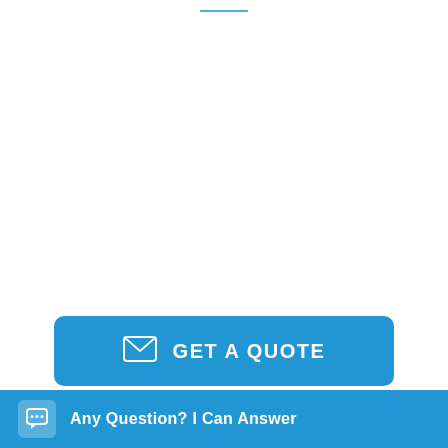[Figure (other): Short horizontal blue decorative line near top center of page]
[Figure (other): Blue rounded rectangle button labeled GET A QUOTE with envelope icon on left]
Equipped with latest sophisticated micro processer control label dispensing system along with user frien...
[Figure (other): Partial dark blue image/widget visible at right edge]
Any Question? I Can Answer